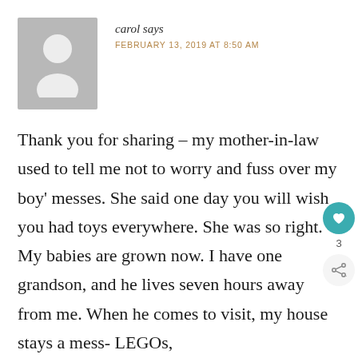[Figure (illustration): Generic gray user avatar silhouette placeholder image]
carol says
FEBRUARY 13, 2019 AT 8:50 AM
Thank you for sharing – my mother-in-law used to tell me not to worry and fuss over my boy' messes. She said one day you will wish you had toys everywhere. She was so right. My babies are grown now. I have one grandson, and he lives seven hours away from me. When he comes to visit, my house stays a mess- LEGOs,